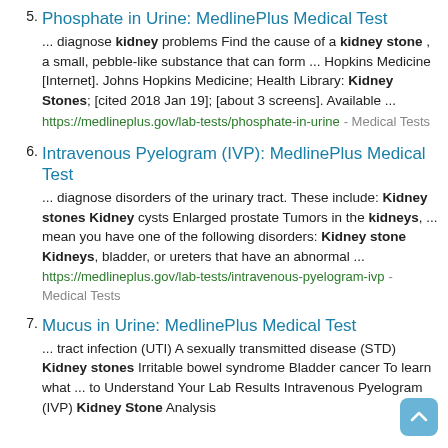5. Phosphate in Urine: MedlinePlus Medical Test ... diagnose kidney problems Find the cause of a kidney stone , a small, pebble-like substance that can form ... Hopkins Medicine [Internet]. Johns Hopkins Medicine; Health Library: Kidney Stones; [cited 2018 Jan 19]; [about 3 screens]. Available ... https://medlineplus.gov/lab-tests/phosphate-in-urine - Medical Tests
6. Intravenous Pyelogram (IVP): MedlinePlus Medical Test ... diagnose disorders of the urinary tract. These include: Kidney stones Kidney cysts Enlarged prostate Tumors in the kidneys, ... mean you have one of the following disorders: Kidney stone Kidneys, bladder, or ureters that have an abnormal ... https://medlineplus.gov/lab-tests/intravenous-pyelogram-ivp - Medical Tests
7. Mucus in Urine: MedlinePlus Medical Test ... tract infection (UTI) A sexually transmitted disease (STD) Kidney stones Irritable bowel syndrome Bladder cancer To learn what ... to Understand Your Lab Results Intravenous Pyelogram (IVP) Kidney Stone Analysis